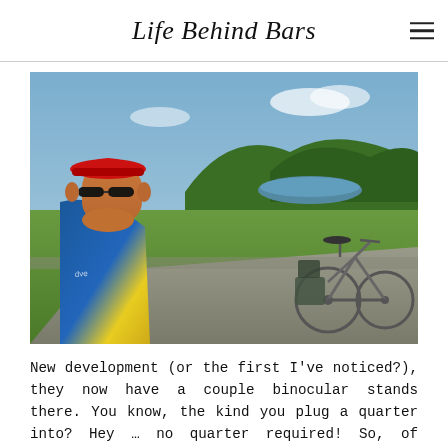Life Behind Bars
[Figure (photo): A cyclist in a red cap, sunglasses, and colorful cycling jersey takes a selfie with his loaded touring bicycle behind him, overlooking a scenic river valley with green hills and a body of water in the background.]
New development (or the first I've noticed?), they now have a couple binocular stands there. You know, the kind you plug a quarter into? Hey … no quarter required! So, of course, I lost a few minutes there